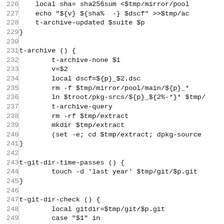[Figure (other): Shell script source code listing, lines 226–255, showing functions t-archive and t-git-dir-time-passes and t-git-dir-check with monospace font and line numbers.]